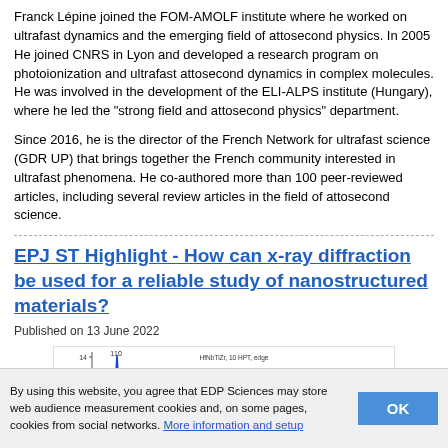Franck Lépine joined the FOM-AMOLF institute where he worked on ultrafast dynamics and the emerging field of attosecond physics. In 2005 He joined CNRS in Lyon and developed a research program on photoionization and ultrafast attosecond dynamics in complex molecules. He was involved in the development of the ELI-ALPS institute (Hungary), where he led the "strong field and attosecond physics" department.
Since 2016, he is the director of the French Network for ultrafast science (GDR UP) that brings together the French community interested in ultrafast phenomena. He co-authored more than 100 peer-reviewed articles, including several review articles in the field of attosecond science.
EPJ ST Highlight - How can x-ray diffraction be used for a reliable study of nanostructured materials?
Published on 13 June 2022
[Figure (continuous-plot): Scientific chart showing x-ray diffraction data for HfNbTiZr, 10 HPT, edge with measured, calculated, and difference curves. Y-axis labeled in a.u., x-axis shows diffraction angle. Peak labeled 110 visible.]
By using this website, you agree that EDP Sciences may store web audience measurement cookies and, on some pages, cookies from social networks. More information and setup